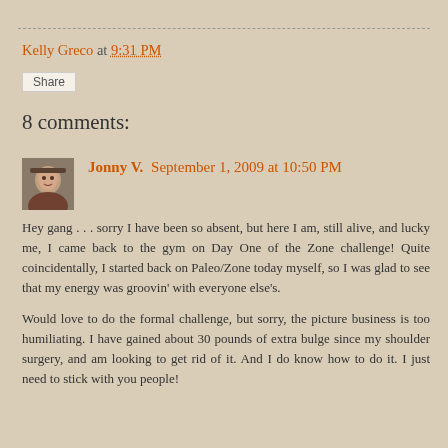Kelly Greco at 9:31 PM
Share
8 comments:
Jonny V. September 1, 2009 at 10:50 PM
Hey gang . . . sorry I have been so absent, but here I am, still alive, and lucky me, I came back to the gym on Day One of the Zone challenge! Quite coincidentally, I started back on Paleo/Zone today myself, so I was glad to see that my energy was groovin' with everyone else's.

Would love to do the formal challenge, but sorry, the picture business is too humiliating. I have gained about 30 pounds of extra bulge since my shoulder surgery, and am looking to get rid of it. And I do know how to do it. I just need to stick with you people!